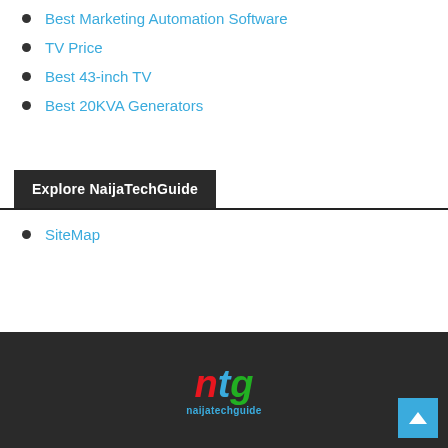Best Marketing Automation Software
TV Price
Best 43-inch TV
Best 20KVA Generators
Explore NaijaTechGuide
SiteMap
[Figure (logo): NaijaTechGuide logo with ntg letters in red, blue, green and tagline naijatechguide below]